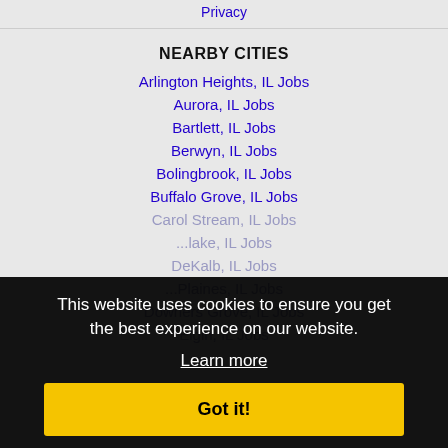Privacy
NEARBY CITIES
Arlington Heights, IL Jobs
Aurora, IL Jobs
Bartlett, IL Jobs
Berwyn, IL Jobs
Bolingbrook, IL Jobs
Buffalo Grove, IL Jobs
Carol Stream, IL Jobs
...lake, IL Jobs
DeKalb, IL Jobs
...Plaines, IL Jobs
Downers Grove, IL Jobs
Elgin, IL Jobs
This website uses cookies to ensure you get the best experience on our website. Learn more Got it!